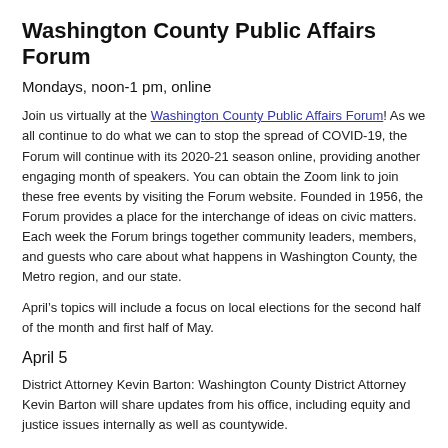Washington County Public Affairs Forum
Mondays, noon-1 pm, online
Join us virtually at the Washington County Public Affairs Forum! As we all continue to do what we can to stop the spread of COVID-19, the Forum will continue with its 2020-21 season online, providing another engaging month of speakers. You can obtain the Zoom link to join these free events by visiting the Forum website. Founded in 1956, the Forum provides a place for the interchange of ideas on civic matters. Each week the Forum brings together community leaders, members, and guests who care about what happens in Washington County, the Metro region, and our state.
April’s topics will include a focus on local elections for the second half of the month and first half of May.
April 5
District Attorney Kevin Barton: Washington County District Attorney Kevin Barton will share updates from his office, including equity and justice issues internally as well as countywide.